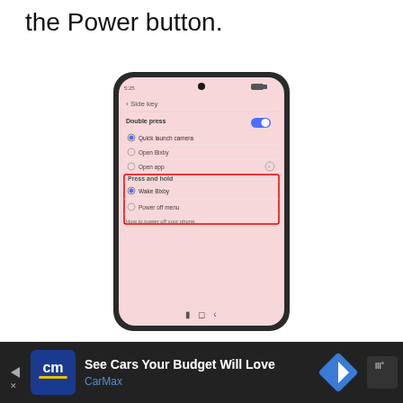the Power button.
[Figure (screenshot): Samsung Galaxy phone screenshot showing Side key settings. Double press section with toggle on, options: Quick launch camera (selected), Open Bixby, Open app. Press and hold section highlighted with red border showing: Wake Bixby (selected), Power off menu. Below: How to power off your phone link.]
[Figure (infographic): Advertisement bar: CarMax ad with blue CM logo, text 'See Cars Your Budget Will Love' and 'CarMax', navigation arrow icon and Waze icon on right.]